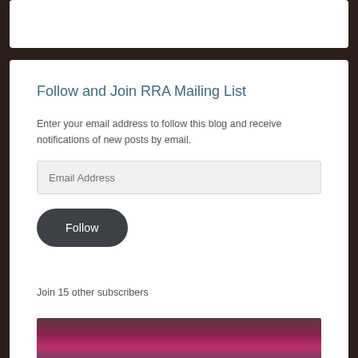Follow and Join RRA Mailing List
Enter your email address to follow this blog and receive notifications of new posts by email.
Join 15 other subscribers
[Figure (photo): Partial photo visible at the bottom of the page, showing what appears to be a pink/magenta hat or clothing item]